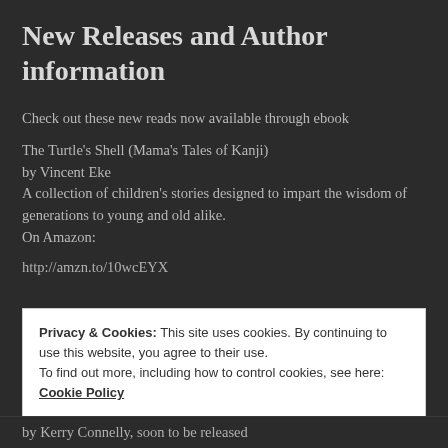New Releases and Author information
Check out these new reads now available through ebook
The Turtle's Shell (Mama's Tales of Kanji)
by Vincent Eke
A collection of children's stories designed to impart the wisdom of generations to young and old alike.
On Amazon:
http://amzn.to/10wcEYX
Privacy & Cookies: This site uses cookies. By continuing to use this website, you agree to their use.
To find out more, including how to control cookies, see here: Cookie Policy
Close and accept
by Kerry Connelly, soon to be released